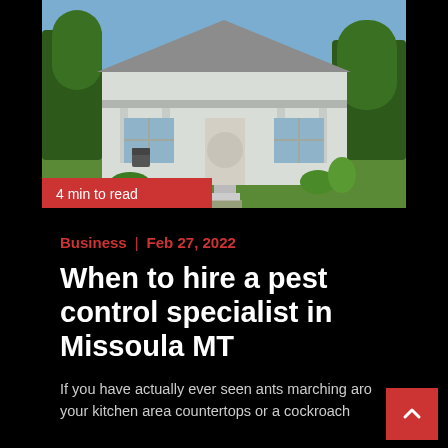[Figure (photo): A white single-story house with a covered front porch, surrounded by green lawn and trees on a sunny day. A red banner reading '4 min to read' overlays the bottom-left of the image.]
Business  |  Feb 27, 2022
When to hire a pest control specialist in Missoula MT
If you have actually ever seen ants marching aro your kitchen area countertops or a cockroach